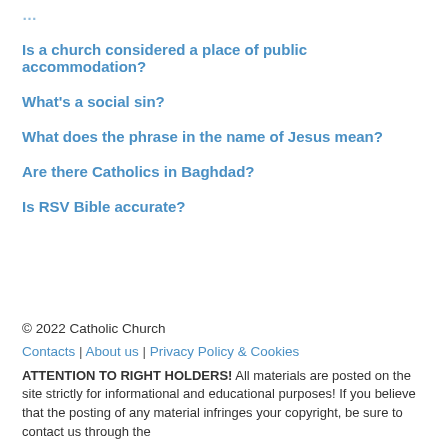Is a church considered a place of public accommodation?
What's a social sin?
What does the phrase in the name of Jesus mean?
Are there Catholics in Baghdad?
Is RSV Bible accurate?
© 2022 Catholic Church
Contacts | About us | Privacy Policy & Cookies
ATTENTION TO RIGHT HOLDERS! All materials are posted on the site strictly for informational and educational purposes! If you believe that the posting of any material infringes your copyright, be sure to contact us through the